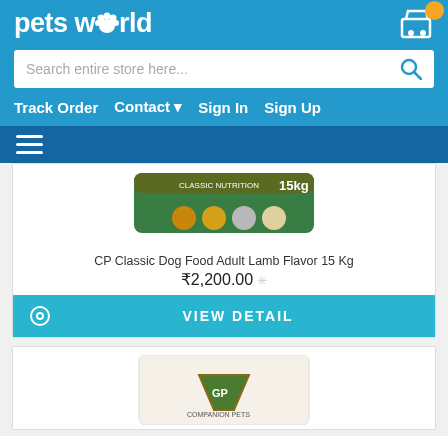[Figure (logo): Pets World logo with paw print icon in white on blue background]
[Figure (screenshot): Shopping cart icon with yellow notification badge]
Search entire store here...
Track Order  Contact  Sign In  Sign Up
[Figure (screenshot): Hamburger menu icon (three horizontal lines)]
[Figure (photo): CP Classic Dog Food Adult Lamb Flavor 15 Kg product bag - green packaging with 15kg label]
CP Classic Dog Food Adult Lamb Flavor 15 Kg
₹2,200.00
VIEW DETAIL
[Figure (photo): Second product partial image showing GP Companion Pets product packaging - white bag with green/gold label]